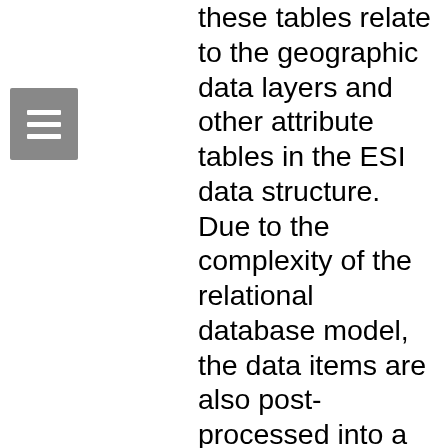these tables relate to the geographic data layers and other attribute tables in the ESI data structure. Due to the complexity of the relational database model, the data items are also post-processed into a flat file format. This table, called BIOFILE, may be used in place of the relational files to ease simple data queries. The items in the flat file are ELEMENT, SUBELEMENT, NAME, GEN_SPEC, S, F, NHP, DATE_PUB, CONC, JAN, FEB, MAR, APR, MAY, JUN, JUL, AUG, SEP, OCT, NOV, DEC, BREED1, BREED2, BREED3, BREED4, BREED5, RARNUM, G_SOURCE, S_SOURCE, and BREED. All of these items are the same as their counterparts in the individual data tables (described in the Detailed_Description sections), and the BREED1, BREED5, and